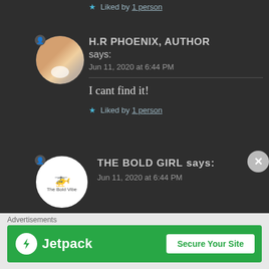★ Liked by 1 person
H.R PHOENIX, AUTHOR says:
Jun 11, 2020 at 6:44 PM
I cant find it!
★ Liked by 1 person
THE BOLD GIRL says:
Jun 11, 2020 at 6:44 PM
Advertisements
[Figure (screenshot): Jetpack advertisement banner with green background, Jetpack logo on left and 'Secure Your Site' button on right]